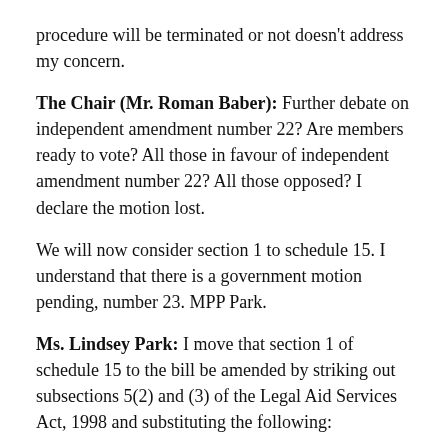procedure will be terminated or not doesn't address my concern.
The Chair (Mr. Roman Baber): Further debate on independent amendment number 22? Are members ready to vote? All those in favour of independent amendment number 22? All those opposed? I declare the motion lost.
We will now consider section 1 to schedule 15. I understand that there is a government motion pending, number 23. MPP Park.
Ms. Lindsey Park: I move that section 1 of schedule 15 to the bill be amended by striking out subsections 5(2) and (3) of the Legal Aid Services Act, 1998 and substituting the following:
“Composition
“(2) The board shall be composed of 11 persons appointed for a specified term by the Lieutenant Governor in Council